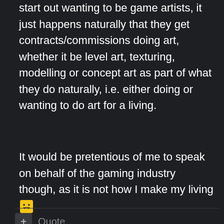start out wanting to be game artists, it just happens naturally that they get contracts/commissions doing art, whether it be level art, texturing, modelling or concept art as part of what they do naturally, i.e. either doing or wanting to do art for a living.
It would be pretentious of me to speak on behalf of the gaming industry though, as it is not how I make my living 🤔
Quote
Join the conversation
You can post now and register later. If you have an